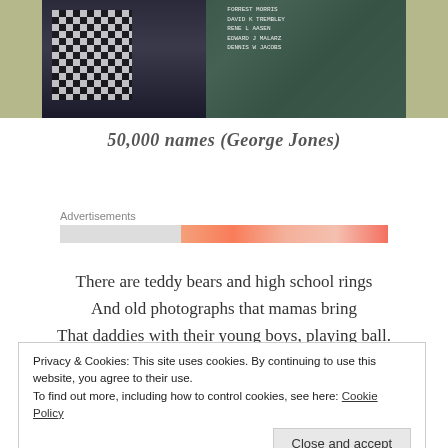[Figure (photo): Photo of a person wearing a black and white patterned vest near a wall with names engraved on it]
50,000 names (George Jones)
Advertisements
There are teddy bears and high school rings
And old photographs that mamas bring
That daddies with their young boys, playing ball.
Privacy & Cookies: This site uses cookies. By continuing to use this website, you agree to their use.
To find out more, including how to control cookies, see here: Cookie Policy
Close and accept
There's cigarettes, and theres cans of beer